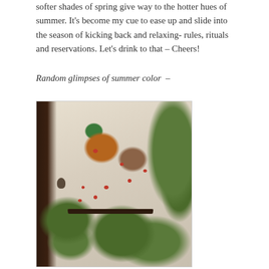softer shades of spring give way to the hotter hues of summer. It's become my cue to ease up and slide into the season of kicking back and relaxing- rules, rituals and reservations. Let's drink to that – Cheers!
Random glimpses of summer color  –
[Figure (photo): Photograph of colorful garden pots and planters mounted on a stucco wall, featuring red flowers (geraniums or million bells), green foliage including succulents and herbs, terracotta and ceramic pots, a dark wooden shelf/table, a bronze bell, and various lush plants.]